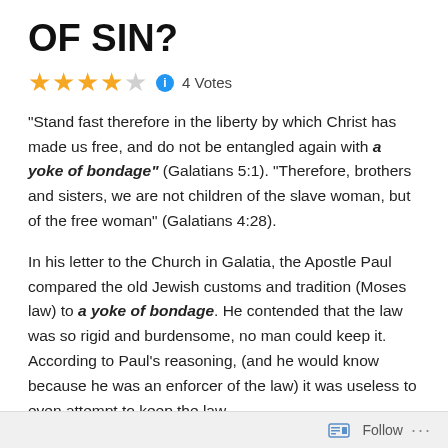OF SIN?
★★★★☆ ℹ 4 Votes
“Stand fast therefore in the liberty by which Christ has made us free, and do not be entangled again with a yoke of bondage” (Galatians 5:1). “Therefore, brothers and sisters, we are not children of the slave woman, but of the free woman” (Galatians 4:28).
In his letter to the Church in Galatia, the Apostle Paul compared the old Jewish customs and tradition (Moses law) to a yoke of bondage. He contended that the law was so rigid and burdensome, no man could keep it. According to Paul’s reasoning, (and he would know because he was an enforcer of the law) it was useless to even attempt to keep the law.
“Indeed I, Paul, say to you that if you become circumcised, Christ will profit you nothing. And I testify again to every man who
Follow ...